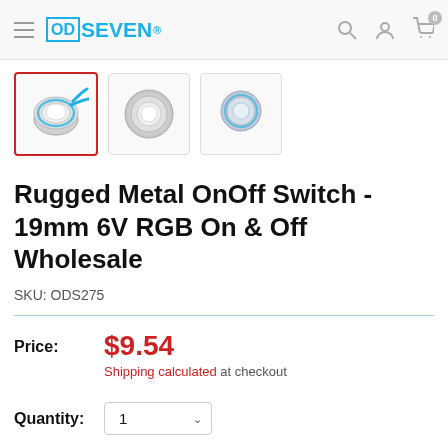ODSEVEN — navigation header with hamburger menu, logo, search icon, account icon, cart icon (0)
[Figure (photo): Three product thumbnail images of a rugged metal push button switch. First image is selected (red border) showing front-angle view with blue LED ring. Second shows top-down view. Third shows side/top view in blue.]
Rugged Metal OnOff Switch - 19mm 6V RGB On & Off Wholesale
SKU: ODS275
Price: $9.54 — Shipping calculated at checkout
Quantity: 1